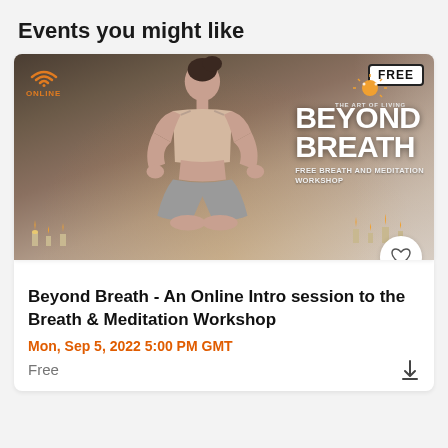Events you might like
[Figure (photo): A woman sitting cross-legged in a meditation pose with candles around her. Overlaid text reads 'BEYOND BREATH - FREE BREATH AND MEDITATION WORKSHOP'. An 'ONLINE' badge with wifi icon appears on the left, a 'FREE' badge in the top right corner, and a heart/save button in the bottom right.]
Beyond Breath - An Online Intro session to the Breath & Meditation Workshop
Mon, Sep 5, 2022 5:00 PM GMT
Free